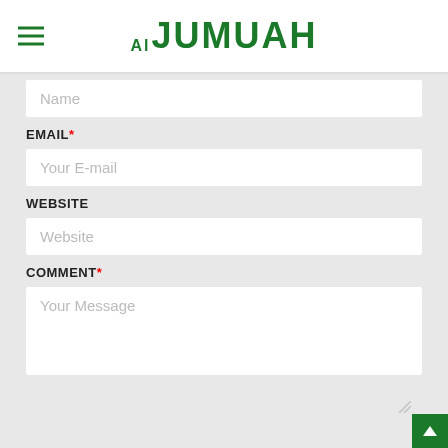Al Jumuah
Name (placeholder)
EMAIL*
Your E-mail (placeholder)
WEBSITE
Website (placeholder)
COMMENT*
Your Message (placeholder)